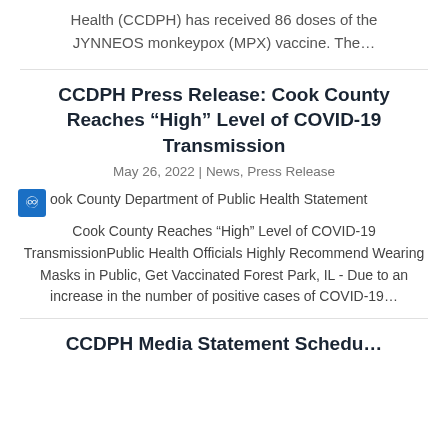Health (CCDPH) has received 86 doses of the JYNNEOS monkeypox (MPX) vaccine. The…
CCDPH Press Release: Cook County Reaches “High” Level of COVID-19 Transmission
May 26, 2022 | News, Press Release
Cook County Department of Public Health Statement Cook County Reaches “High” Level of COVID-19 TransmissionPublic Health Officials Highly Recommend Wearing Masks in Public, Get Vaccinated Forest Park, IL - Due to an increase in the number of positive cases of COVID-19…
CCDPH Media Statement Schedu…